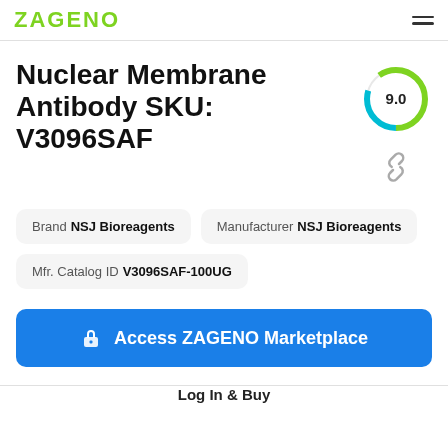ZAGENO
Nuclear Membrane Antibody SKU: V3096SAF
[Figure (other): Donut/gauge chart showing score 9.0, with green and teal arc segments on a white circle background]
Brand NSJ Bioreagents
Manufacturer NSJ Bioreagents
Mfr. Catalog ID V3096SAF-100UG
Access ZAGENO Marketplace
Log In & Buy